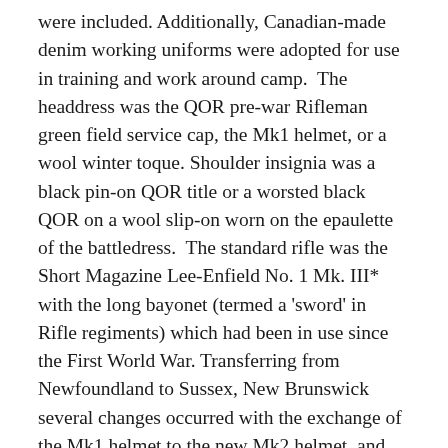were included. Additionally, Canadian-made denim working uniforms were adopted for use in training and work around camp.  The headdress was the QOR pre-war Rifleman green field service cap, the Mk1 helmet, or a wool winter toque. Shoulder insignia was a black pin-on QOR title or a worsted black QOR on a wool slip-on worn on the epaulette of the battledress.  The standard rifle was the Short Magazine Lee-Enfield No. 1 Mk. III* with the long bayonet (termed a 'sword' in Rifle regiments) which had been in use since the First World War. Transferring from Newfoundland to Sussex, New Brunswick several changes occurred with the exchange of the Mk1 helmet to the new Mk2 helmet, and the adoption of a winter wool cap. This was worn squarely on the head with the Regimental cap badge fixed centre on the front of the front flap of the cap.